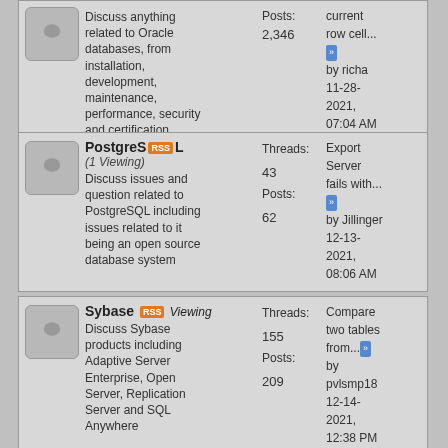Discuss anything related to Oracle databases, from installation, development, maintenance, performance, security and certification. Posts: 2,346 | Current row cell... by richa 11-28-2021, 07:04 AM
PostgreSQL (1 Viewing) Threads: 43 Posts: 62 | Export Server fails with... by Jillinger 12-13-2021, 08:06 AM
Sybase (1 Viewing) Threads: 155 Posts: 209 | Compare two tables from... by pvlsmp18 12-14-2021, 12:38 PM
Miscellaneous Threads / Posts Last Post
General Database Discussions Threads: 6,804 | Truncate or Rebuild